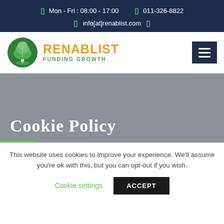Mon - Fri : 08:00 - 17:00   011-326-8822   info[at]renablist.com
[Figure (logo): Renablist tree logo with text RENABLIST FUNDING GROWTH]
Cookie Policy
This website uses cookies to improve your experience. We'll assume you're ok with this, but you can opt-out if you wish.
Cookie settings   ACCEPT